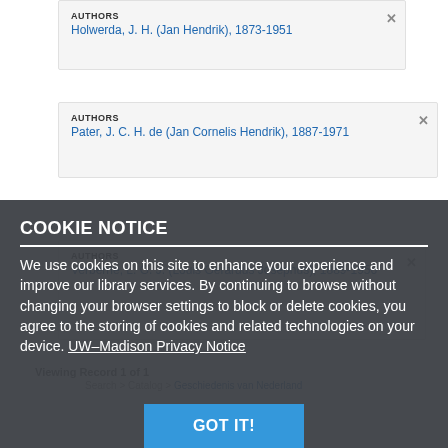AUTHORS
Holwerda, J. H. (Jan Hendrik), 1873-1951
AUTHORS
Pater, J. C. H. de (Jan Cornelis Hendrik), 1887-1971
AUTHORS
Verberne, L. G. J. (Louis Gerardus Josephus), 1889-1956
COOKIE NOTICE
We use cookies on this site to enhance your experience and improve our library services. By continuing to browse without changing your browser settings to block or delete cookies, you agree to the storing of cookies and related technologies on your device. UW–Madison Privacy Notice
Viewing Record 1 of 1
Search > Catalog > Geschiedenis van Nederland
GOT IT!